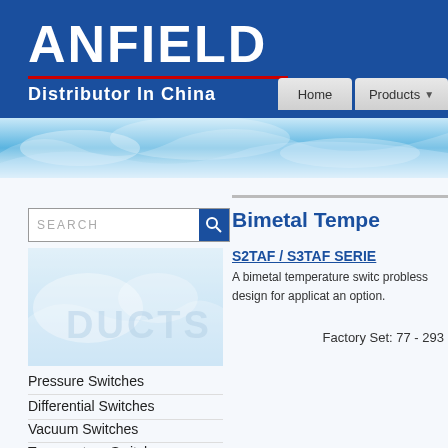[Figure (logo): ANFIELD logo with red underline and 'Distributor In China' subtitle on dark blue background]
[Figure (screenshot): Navigation bar with Home and Products buttons]
[Figure (photo): Water splash banner image in blue tones]
SEARCH
Pressure Switches
Differential Switches
Vacuum Switches
Temperature Switches
Bimetal Tempe
S2TAF / S3TAF SERIE
A bimetal temperature switc probless design for applicat an option.
Factory Set: 77 - 293